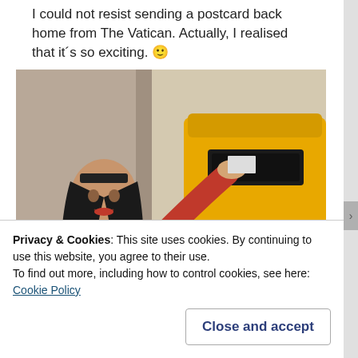I could not resist sending a postcard back home from The Vatican. Actually, I realised that it´s so exciting. 🙂
[Figure (photo): A woman in a red jacket posting a letter/card into a yellow Vatican postal box (Poste Vaticane) mounted on a wall.]
Privacy & Cookies: This site uses cookies. By continuing to use this website, you agree to their use.
To find out more, including how to control cookies, see here: Cookie Policy
Close and accept